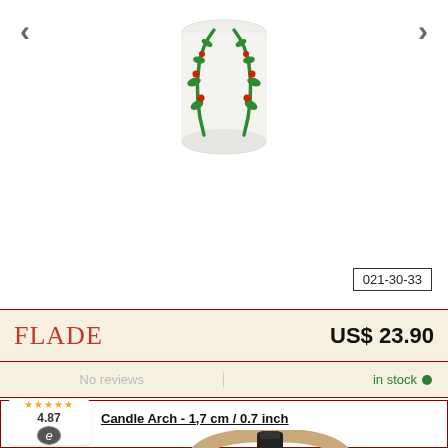[Figure (photo): White ceramic candle holder with green holly/ivy chain decoration and red berries, shown against white background with navigation arrows on sides]
021-30-33
FLADE
US$ 23.90
No reviews
in stock
4.87
Candle Arch - 1,7 cm / 0.7 inch
[Figure (photo): Wooden arch/hoop candle holder in natural wood color with black metal candle holder in center, partially visible at bottom of page]